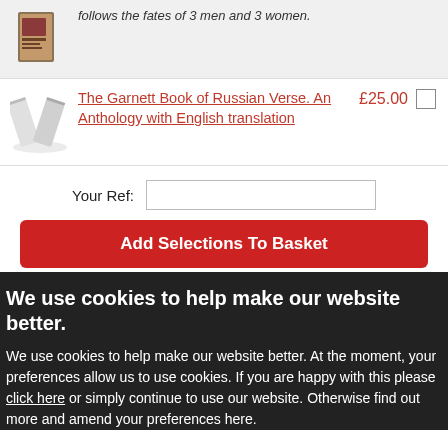follows the fates of 3 men and 3 women.
The Garnett Book of Russian Verse. An Anthology with English translation
£25.00
Your Ref:
Add Selections To Basket
Page 1 of 2 - < Previous 1 2 Next > Page No. Go
We use cookies to help make our website better.
We use cookies to help make our website better. At the moment, your preferences allow us to use cookies. If you are happy with this please click here or simply continue to use our website. Otherwise find out more and amend your preferences here.